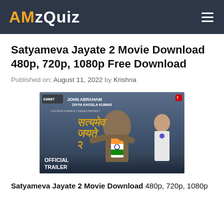AMzQuiz
Satyameva Jayate 2 Movie Download 480p, 720p, 1080p Free Download
Published on: August 11, 2022 by Krishna
[Figure (photo): Official trailer poster for Satyameva Jayate 2 featuring John Abraham and Divya Khosla Kumar. John Abraham is shown ripping open his shirt to reveal the Indian flag on his chest. Hindi title text (Satyameva Jayate 2) in golden stylized font. Text reads OFFICIAL TRAILER in bottom left.]
Satyameva Jayate 2 Movie Download 480p, 720p, 1080p